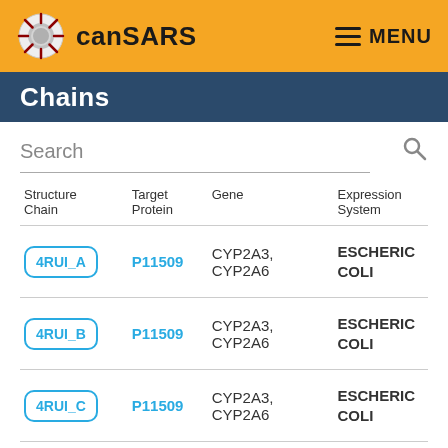canSARS   MENU
Chains
Search
| Structure Chain | Target Protein | Gene | Expression System |
| --- | --- | --- | --- |
| 4RUI_A | P11509 | CYP2A3, CYP2A6 | ESCHERIC COLI |
| 4RUI_B | P11509 | CYP2A3, CYP2A6 | ESCHERIC COLI |
| 4RUI_C | P11509 | CYP2A3, CYP2A6 | ESCHERIC COLI |